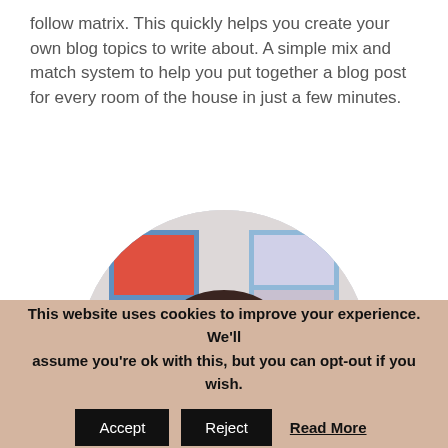follow matrix. This quickly helps you create your own blog topics to write about. A simple mix and match system to help you put together a blog post for every room of the house in just a few minutes.
[Figure (photo): Circular cropped portrait photo of a woman with dark shoulder-length hair, wearing a white top, smiling, with colorful artwork visible in the background.]
This website uses cookies to improve your experience. We'll assume you're ok with this, but you can opt-out if you wish.